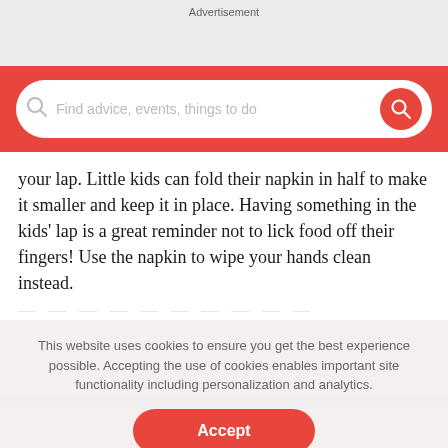Advertisement
[Figure (screenshot): Red search bar with placeholder text 'Find advice, events, things to do' and a search button]
your lap. Little kids can fold their napkin in half to make it smaller and keep it in place. Having something in the kids' lap is a great reminder not to lick food off their fingers! Use the napkin to wipe your hands clean instead.
This website uses cookies to ensure you get the best experience possible. Accepting the use of cookies enables important site functionality including personalization and analytics.
Accept
Decline